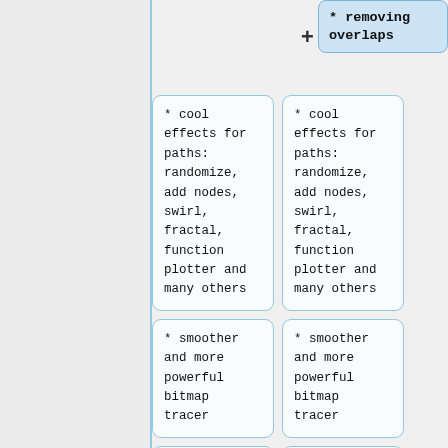* removing overlaps
* cool effects for paths: randomize, add nodes, swirl, fractal, function plotter and many others
* cool effects for paths: randomize, add nodes, swirl, fractal, function plotter and many others
* smoother and more powerful bitmap tracer
* smoother and more powerful bitmap tracer
* icon preview
* icon preview